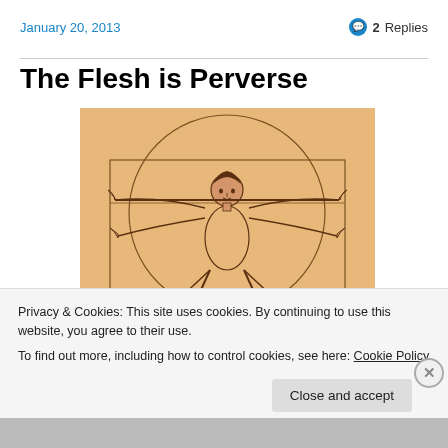January 20, 2013
💬 2 Replies
The Flesh is Perverse
[Figure (illustration): Vitruvian Man illustration — a figure with outstretched arms and legs inscribed in a circle and square, drawn in an orange/tan tone reminiscent of Leonardo da Vinci's famous diagram.]
Privacy & Cookies: This site uses cookies. By continuing to use this website, you agree to their use.
To find out more, including how to control cookies, see here: Cookie Policy
Close and accept